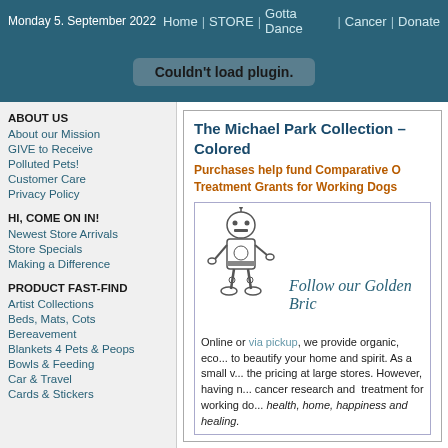Monday 5. September 2022   Home | STORE | Gotta Dance | Cancer | Donate
[Figure (screenshot): Plugin error banner reading 'Couldn't load plugin.']
ABOUT US
About our Mission
GIVE to Receive
Polluted Pets!
Customer Care
Privacy Policy
HI, COME ON IN!
Newest Store Arrivals
Store Specials
Making a Difference
PRODUCT FAST-FIND
Artist Collections
Beds, Mats, Cots
Bereavement
Blankets 4 Pets & Peops
Bowls & Feeding
Car & Travel
Cards & Stickers
The Michael Park Collection — Colored
Purchases help fund Comparative Oncology Treatment Grants for Working Dogs
[Figure (illustration): Cartoon robot/tin man character standing upright]
Follow our Golden Bric
Online or via pickup, we provide organic, eco... to beautify your home and spirit. As a small v... the pricing at large stores. However, having n... cancer research and treatment for working do... health, home, happiness and healing.